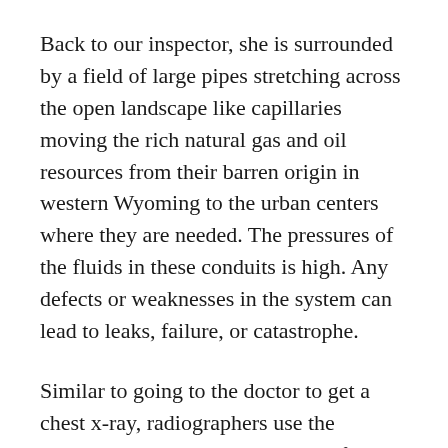Back to our inspector, she is surrounded by a field of large pipes stretching across the open landscape like capillaries moving the rich natural gas and oil resources from their barren origin in western Wyoming to the urban centers where they are needed. The pressures of the fluids in these conduits is high. Any defects or weaknesses in the system can lead to leaks, failure, or catastrophe.
Similar to going to the doctor to get a chest x-ray, radiographers use the radioactive source to get images of the internal welds connecting the robust pipes. The resulting exposure, or image, can tell the engineers whether the pipe